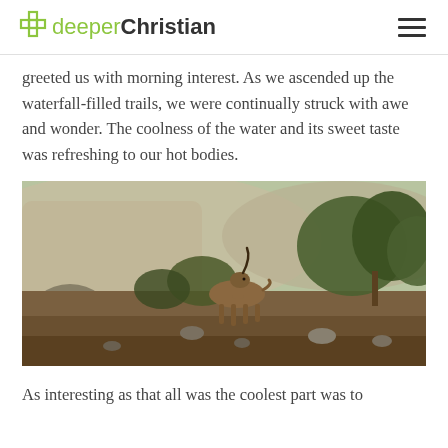deeperChristian
greeted us with morning interest. As we ascended up the waterfall-filled trails, we were continually struck with awe and wonder. The coolness of the water and its sweet taste was refreshing to our hot bodies.
[Figure (photo): A wild goat or ibex walking among rocks, shrubs, and trees in a dry, rocky desert canyon landscape. The animal is brown with curved horns, walking left to right through the rocky terrain.]
As interesting as that all was the coolest part was to